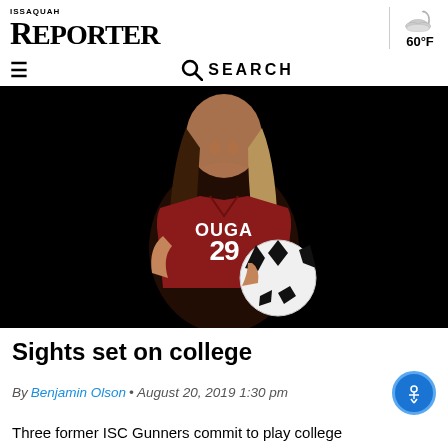ISSAQUAH REPORTER
[Figure (photo): Female soccer player wearing red Cougars jersey number 29 holding a soccer ball, posed against black background]
Sights set on college
By Benjamin Olson • August 20, 2019 1:30 pm
Three former ISC Gunners commit to play college